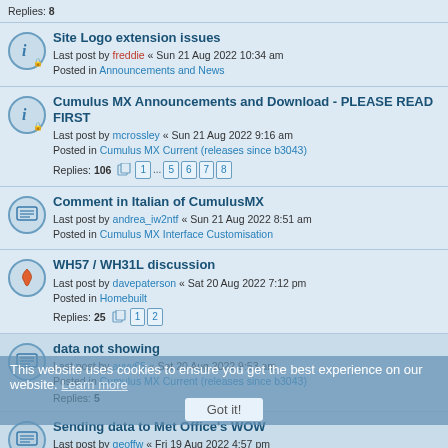Replies: 8
Site Logo extension issues
Last post by freddie « Sun 21 Aug 2022 10:34 am
Posted in Announcements and News
Cumulus MX Announcements and Download - PLEASE READ FIRST
Last post by mcrossley « Sun 21 Aug 2022 9:16 am
Posted in Cumulus MX Current (releases since b3043)
Replies: 106
Pages: 1 ... 5 6 7 8
Comment in Italian of CumulusMX
Last post by andrea_iw2ntf « Sun 21 Aug 2022 8:51 am
Posted in Cumulus MX Interface Customisation
WH57 / WH31L discussion
Last post by davepaterson « Sat 20 Aug 2022 7:12 pm
Posted in Homebuilt
Replies: 25
Pages: 1 2
data not showing
Last post by avvy65 « Sat 20 Aug 2022 9:53 am
Posted in Cumulus MX Current (releases since b3043)
Replies: 5
Sending data to Met Office's WOW
Last post by geoffw « Fri 19 Aug 2022 4:57 pm
Posted in Web site - General
Replies: 6
MySQL Timeouts Continue
Last post by freddie « Fri 19 Aug 2022 12:49 pm
Posted in Cumulus MX Current (releases since b3043)
Replies: 10